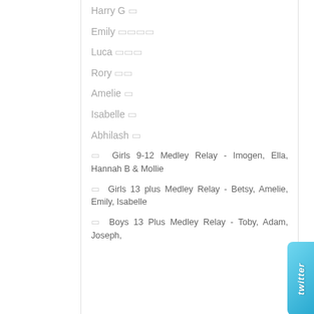Harry G 🏅
Emily 🏅🏅🏅🏅
Luca 🏅🏅🏅
Rory 🏅🏅
Amelie 🏅
Isabelle 🏅
Abhilash 🏅
🏅 Girls 9-12 Medley Relay - Imogen, Ella, Hannah B & Mollie
🏅 Girls 13 plus Medley Relay - Betsy, Amelie, Emily, Isabelle
🏅 Boys 13 Plus Medley Relay - Toby, Adam, Joseph, ...